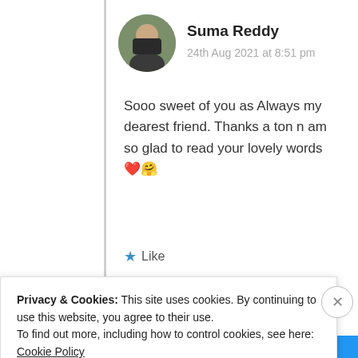[Figure (photo): Circular avatar photo of Suma Reddy, a woman with dark hair]
Suma Reddy
24th Aug 2021 at 8:51 pm
Sooo sweet of you as Always my dearest friend. Thanks a ton n am so glad to read your lovely words ❤️🤗
★ Like
Log in to Reply
Advertisements
Privacy & Cookies: This site uses cookies. By continuing to use this website, you agree to their use.
To find out more, including how to control cookies, see here: Cookie Policy
Close and accept